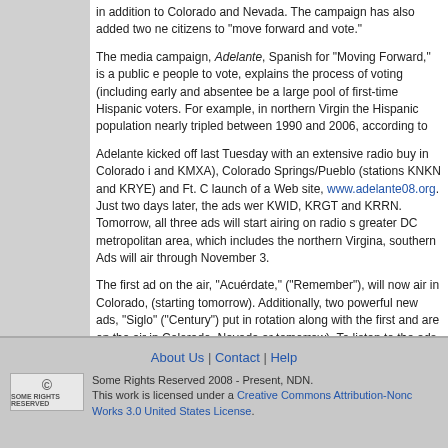in addition to Colorado and Nevada. The campaign has also added two new citizens to "move forward and vote."
The media campaign, Adelante, Spanish for "Moving Forward," is a public effort to encourage people to vote, explains the process of voting (including early and absentee voting), and targets what could be a large pool of first-time Hispanic voters. For example, in northern Virginia, the Hispanic population nearly tripled between 1990 and 2006, according to
Adelante kicked off last Tuesday with an extensive radio buy in Colorado in Denver (stations and KMXA), Colorado Springs/Pueblo (stations KNKN and KRYE) and Ft. Collins/Greeley and the launch of a Web site, www.adelante08.org. Just two days later, the ads were expanded to include KWID, KRGT and KRRN. Tomorrow, all three ads will start airing on radio stations covering the greater DC metropolitan area, which includes the northern Virgina, southern Maryland area. Ads will air through November 3.
The first ad on the air, "Acuérdate," ("Remember"), will now air in Colorado, Nevada and DC (starting tomorrow). Additionally, two powerful new ads, "Siglo" ("Century") and have been put in rotation along with the first and are on the air in Colorado, Nevada and DC (starting tomorrow). To listen to the ads or read the transcripts, click here.
Dan Boscov-Ellen's blog   Login to post comments
About Us | Contact | Help
Some Rights Reserved 2008 - Present, NDN.
This work is licensed under a Creative Commons Attribution-NonCommercial-ShareAlike Works 3.0 United States License.